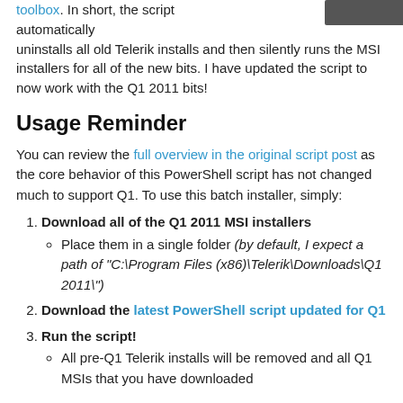toolbox. In short, the script automatically uninstalls all old Telerik installs and then silently runs the MSI installers for all of the new bits. I have updated the script to now work with the Q1 2011 bits!
Usage Reminder
You can review the full overview in the original script post as the core behavior of this PowerShell script has not changed much to support Q1. To use this batch installer, simply:
Download all of the Q1 2011 MSI installers
Place them in a single folder (by default, I expect a path of "C:\Program Files (x86)\Telerik\Downloads\Q1 2011\")
Download the latest PowerShell script updated for Q1
Run the script!
All pre-Q1 Telerik installs will be removed and all Q1 MSIs that you have downloaded